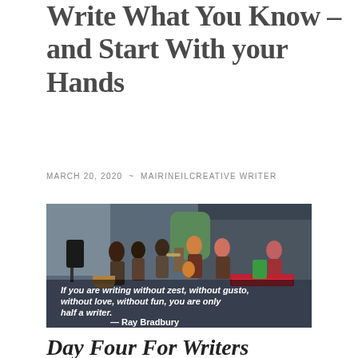Write What You Know – and Start With your Hands
MARCH 20, 2020  ~  MAIRINEILCREATIVE WRITER
[Figure (photo): Street performance photo showing a group of musicians playing on a city sidewalk, overlaid with a Ray Bradbury quote: 'If you are writing without zest, without gusto, without love, without fun, you are only half a writer. — Ray Bradbury']
Day Four For Writers